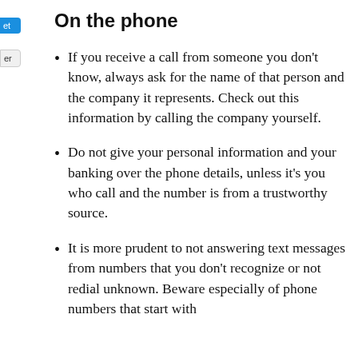On the phone
If you receive a call from someone you don’t know, always ask for the name of that person and the company it represents. Check out this information by calling the company yourself.
Do not give your personal information and your banking over the phone details, unless it’s you who call and the number is from a trustworthy source.
It is more prudent to not answering text messages from numbers that you don’t recognize or not redial unknown. Beware especially of phone numbers that start with